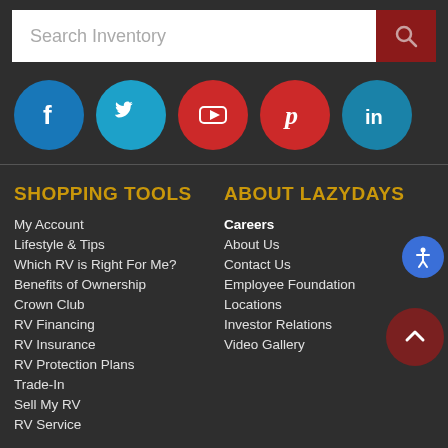Search Inventory
[Figure (illustration): Social media icons row: Facebook (blue circle), Twitter (light blue circle), YouTube (red circle), Pinterest (red circle), LinkedIn (teal circle)]
SHOPPING TOOLS
My Account
Lifestyle & Tips
Which RV is Right For Me?
Benefits of Ownership
Crown Club
RV Financing
RV Insurance
RV Protection Plans
Trade-In
Sell My RV
RV Service
ABOUT LAZYDAYS
Careers
About Us
Contact Us
Employee Foundation
Locations
Investor Relations
Video Gallery